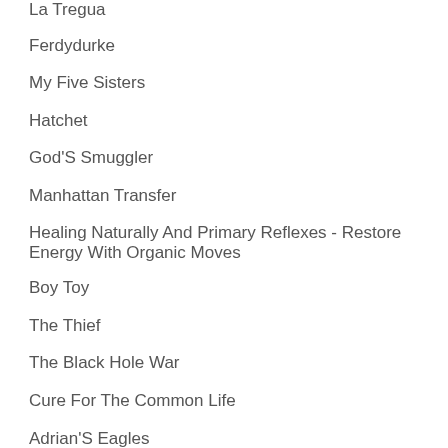La Tregua
Ferdydurke
My Five Sisters
Hatchet
God'S Smuggler
Manhattan Transfer
Healing Naturally And Primary Reflexes - Restore Energy With Organic Moves
Boy Toy
The Thief
The Black Hole War
Cure For The Common Life
Adrian'S Eagles